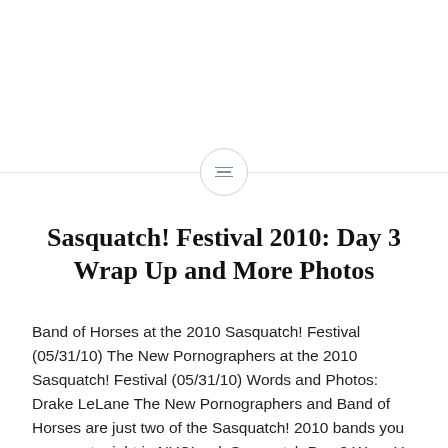[Figure (other): Horizontal divider line with a centered circle containing a menu/list icon with three horizontal lines]
Sasquatch! Festival 2010: Day 3 Wrap Up and More Photos
Band of Horses at the 2010 Sasquatch! Festival (05/31/10) The New Pornographers at the 2010 Sasquatch! Festival (05/31/10) Words and Photos: Drake LeLane The New Pornographers and Band of Horses are just two of the Sasquatch! 2010 bands you can see tonight in NYC! -ed. Sasquatch Day 3 Wrap Up (May 31,2010) After two days...